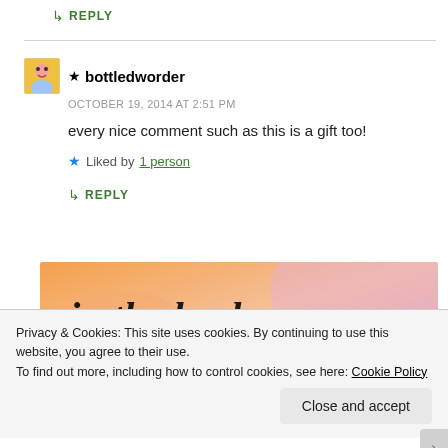↳ REPLY
★ bottledworder
OCTOBER 19, 2014 AT 2:51 PM
every nice comment such as this is a gift too!
★ Liked by 1 person
↳ REPLY
[Figure (illustration): Advertisement banner with text 'in the back.' on orange/pink gradient background]
Privacy & Cookies: This site uses cookies. By continuing to use this website, you agree to their use.
To find out more, including how to control cookies, see here: Cookie Policy
Close and accept